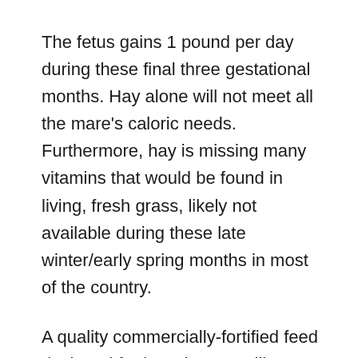The fetus gains 1 pound per day during these final three gestational months. Hay alone will not meet all the mare's caloric needs. Furthermore, hay is missing many vitamins that would be found in living, fresh grass, likely not available during these late winter/early spring months in most of the country.
A quality commercially-fortified feed designed for broodmares will meet her nutritional needs as long as it is fed according to recommended amounts. Or you can mix your own feed by offering beet pulp, hay pellets, ground flaxseeds or Chia seeds, and other whole foods, along with a